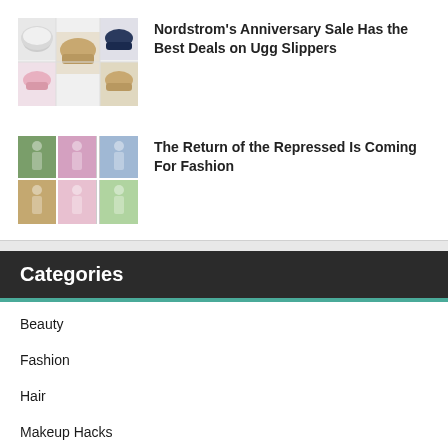[Figure (photo): Grid of UGG slippers in various colors: white fluffy, tan, pink, and navy blue]
Nordstrom's Anniversary Sale Has the Best Deals on Ugg Slippers
[Figure (photo): Collage of fashion photos showing women in colorful outfits]
The Return of the Repressed Is Coming For Fashion
Categories
Beauty
Fashion
Hair
Makeup Hacks
Makeup Tutorials